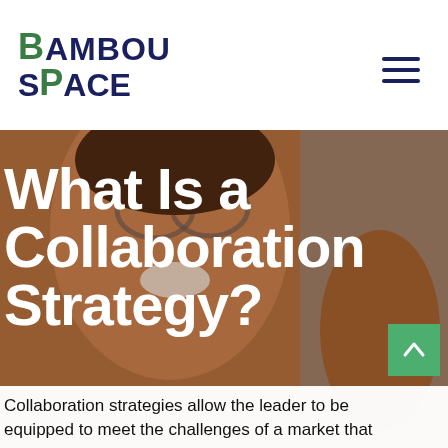[Figure (logo): Bambou Space logo with green B and P letters, dark navy text]
[Figure (photo): A smiling person with glasses photographed close-up, background blurred, brownish warm tones, hero image for collaboration strategy article]
What Is a Collaboration Strategy?
Collaboration strategies allow the leader to be equipped to meet the challenges of a market that